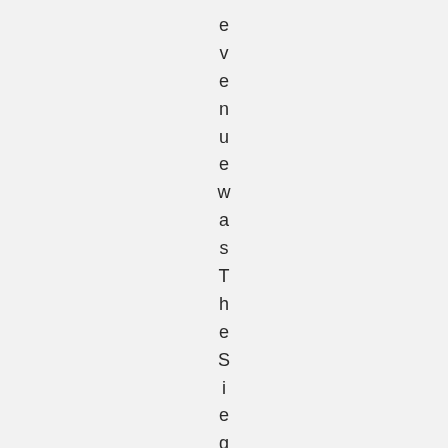e v e n u e w a s T h e S i e g e o f T r